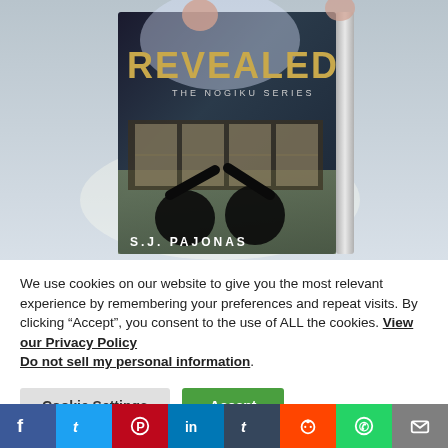[Figure (photo): Book cover image for 'Revealed: The Nogiku Series' by S.J. Pajonas, showing two figures in martial arts poses against a Japanese-style background, with the title in gold letters and author name in white.]
We use cookies on our website to give you the most relevant experience by remembering your preferences and repeat visits. By clicking “Accept”, you consent to the use of ALL the cookies. View our Privacy Policy
Do not sell my personal information.
Cookie Settings
Accept
[Figure (infographic): Social media sharing bar with icons for Facebook, Twitter, Pinterest, LinkedIn, Tumblr, Reddit, WhatsApp, and Email]